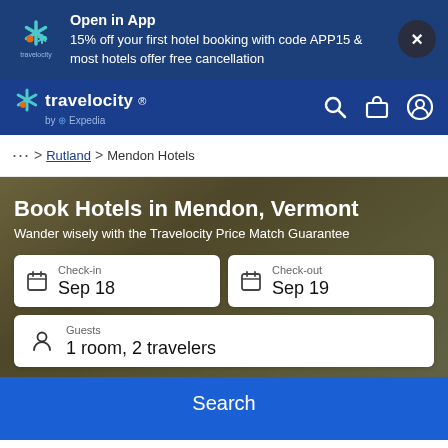Open in App
15% off your first hotel booking with code APP15 & most hotels offer free cancellation
[Figure (logo): Travelocity logo in promo banner]
travelocity by Expedia
... > Rutland > Mendon Hotels
Book Hotels in Mendon, Vermont
Wander wisely with the Travelocity Price Match Guarantee
Check-in
Sep 18
Check-out
Sep 19
Guests
1 room, 2 travelers
Search